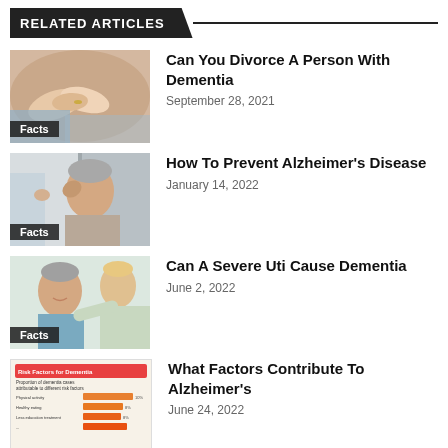RELATED ARTICLES
[Figure (photo): Elderly person holding hands with caregiver, Facts badge]
Can You Divorce A Person With Dementia
September 28, 2021
[Figure (photo): Elderly man holding head with hand, caregiver in background, Facts badge]
How To Prevent Alzheimer's Disease
January 14, 2022
[Figure (photo): Elderly woman smiling with healthcare worker, Facts badge]
Can A Severe Uti Cause Dementia
June 2, 2022
[Figure (infographic): Risk Factors for Dementia infographic with horizontal bar chart showing proportion of dementia cases attributable to different risk factors]
What Factors Contribute To Alzheimer's
June 24, 2022